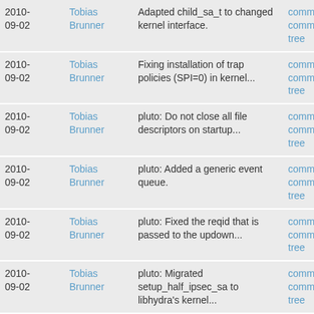| Date | Author | Commit message | Actions |
| --- | --- | --- | --- |
| 2010-09-02 | Tobias Brunner | Adapted child_sa_t to changed kernel interface. | commit | commitdiff | tree |
| 2010-09-02 | Tobias Brunner | Fixing installation of trap policies (SPI=0) in kernel... | commit | commitdiff | tree |
| 2010-09-02 | Tobias Brunner | pluto: Do not close all file descriptors on startup... | commit | commitdiff | tree |
| 2010-09-02 | Tobias Brunner | pluto: Added a generic event queue. | commit | commitdiff | tree |
| 2010-09-02 | Tobias Brunner | pluto: Fixed the reqid that is passed to the updown... | commit | commitdiff | tree |
| 2010-09-02 | Tobias Brunner | pluto: Migrated setup_half_ipsec_sa to libhydra's kernel... | commit | commitdiff | tree |
| 2010-09-02 | Tobias Brunner | pluto: Removed unneeded get_proto_reqid. | commit | commitdiff | tree |